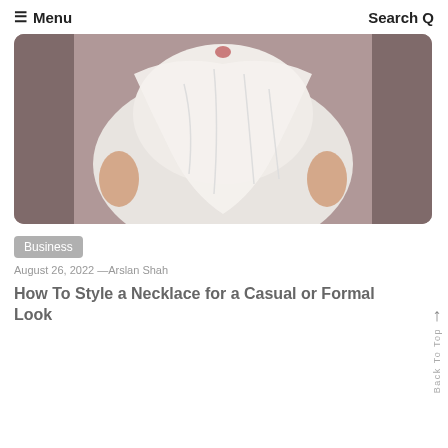≡ Menu   Search Q
[Figure (photo): A person wearing a white draped garment or dress, hands resting at sides, upper torso and hands visible, against a dark background.]
Business
August 26, 2022 —Arslan Shah
How To Style a Necklace for a Casual or Formal Look